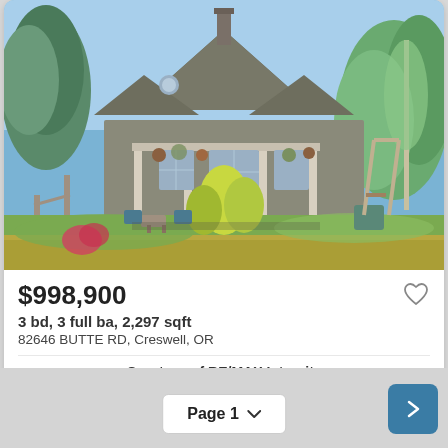[Figure (photo): Exterior photo of a house with gray roof, covered porch, surrounding trees and landscaping, with green grass and wild grasses in foreground]
$998,900
3 bd, 3 full ba, 2,297 sqft
82646 BUTTE RD, Creswell, OR
Courtesy of RE/MAX Integrity
Page 1